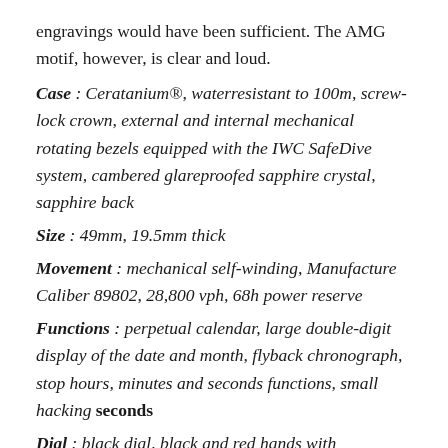engravings would have been sufficient. The AMG motif, however, is clear and loud.
Case : Ceratanium®, waterresistant to 100m, screw-lock crown, external and internal mechanical rotating bezels equipped with the IWC SafeDive system, cambered glareproofed sapphire crystal, sapphire back
Size : 49mm, 19.5mm thick
Movement : mechanical self-winding, Manufacture Caliber 89802, 28,800 vph, 68h power reserve
Functions : perpetual calendar, large double-digit display of the date and month, flyback chronograph, stop hours, minutes and seconds functions, small hacking seconds
Dial : black dial, black and red hands with luminescent elements
Strap : rubber, patented IWC interchangeable strap